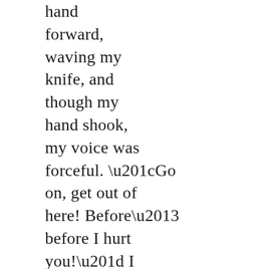hand forward, waving my knife, and though my hand shook, my voice was forceful. “Go on, get out of here! Before–before I hurt you!” I didn’t expect it to believe me, if it could even understand